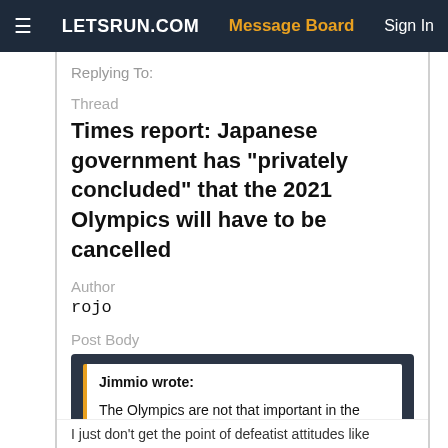≡  LETSRUN.COM    Message Board    Sign In
Replying To:
Thread
Times report: Japanese government has "privately concluded" that the 2021 Olympics will have to be cancelled
Author
rojo
Post Body
Jimmio wrote:

The Olympics are not that important in the scheme of things. The Japanese understand this.
I just don't get the point of defeatist attitudes like